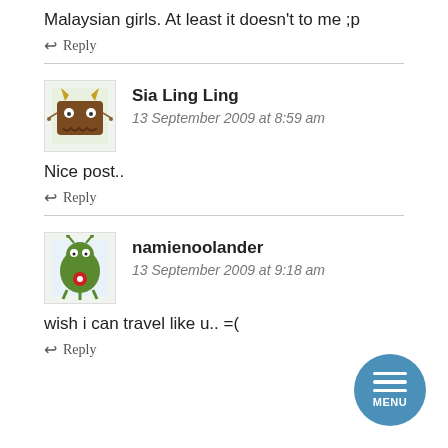Malaysian girls. At least it doesn't to me ;p
↩ Reply
Sia Ling Ling
13 September 2009 at 8:59 am
Nice post..
↩ Reply
namienoolander
13 September 2009 at 9:18 am
wish i can travel like u.. =(
↩ Reply